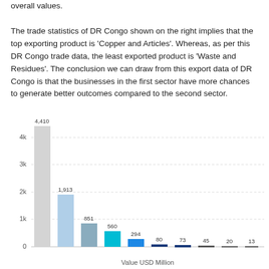overall values. The trade statistics of DR Congo shown on the right implies that the top exporting product is 'Copper and Articles'. Whereas, as per this DR Congo trade data, the least exported product is 'Waste and Residues'. The conclusion we can draw from this export data of DR Congo is that the businesses in the first sector have more chances to generate better outcomes compared to the second sector.
[Figure (bar-chart): ]